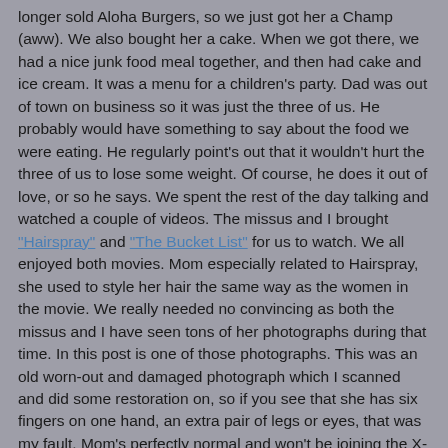longer sold Aloha Burgers, so we just got her a Champ (aww). We also bought her a cake. When we got there, we had a nice junk food meal together, and then had cake and ice cream. It was a menu for a children's party. Dad was out of town on business so it was just the three of us. He probably would have something to say about the food we were eating. He regularly point's out that it wouldn't hurt the three of us to lose some weight. Of course, he does it out of love, or so he says. We spent the rest of the day talking and watched a couple of videos. The missus and I brought "Hairspray" and "The Bucket List" for us to watch. We all enjoyed both movies. Mom especially related to Hairspray, she used to style her hair the same way as the women in the movie. We really needed no convincing as both the missus and I have seen tons of her photographs during that time. In this post is one of those photographs. This was an old worn-out and damaged photograph which I scanned and did some restoration on, so if you see that she has six fingers on one hand, an extra pair of legs or eyes, that was my fault. Mom's perfectly normal and won't be joining the X-Men any time soon. Well, she does have high blood pressure, but I don't think that will qualify as a special ability.
She was also familiar with some of the dance moves in the film. Mom's a good dancer. If there are any researchers out there on the